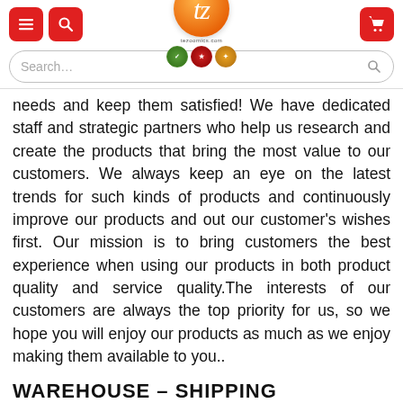[Figure (screenshot): Website header with hamburger menu icon, search icon (both red rounded buttons on left), centered orange logo circle with 'tz' text and trust badge icons below, and red cart icon on right]
[Figure (screenshot): Search bar with placeholder text 'Search...' and magnifying glass icon, rounded pill shape with light border]
needs and keep them satisfied! We have dedicated staff and strategic partners who help us research and create the products that bring the most value to our customers. We always keep an eye on the latest trends for such kinds of products and continuously improve our products and out our customer's wishes first. Our mission is to bring customers the best experience when using our products in both product quality and service quality.The interests of our customers are always the top priority for us, so we hope you will enjoy our products as much as we enjoy making them available to you..
WAREHOUSE – SHIPPING WORLDWIDE